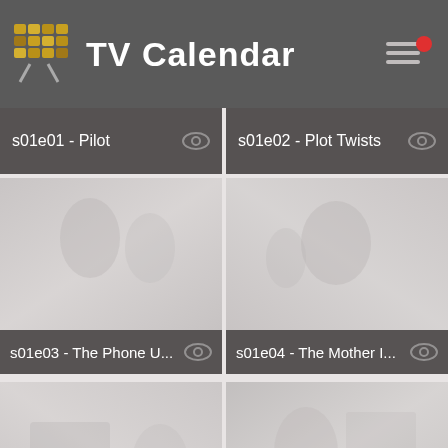TV Calendar
s01e01 - Pilot
s01e02 - Plot Twists
[Figure (screenshot): Blurred thumbnail for s01e03 episode]
s01e03 - The Phone U...
[Figure (screenshot): Blurred thumbnail for s01e04 episode]
s01e04 - The Mother I...
[Figure (screenshot): Blurred thumbnail for s01e05 episode]
s01e05 - Giving the Bi...
[Figure (screenshot): Blurred thumbnail for s01e06 episode]
s01e06 - Stuff
[Figure (screenshot): Blurred thumbnail for s01e07 episode (partial)]
[Figure (screenshot): Blurred thumbnail for s01e08 episode (partial)]